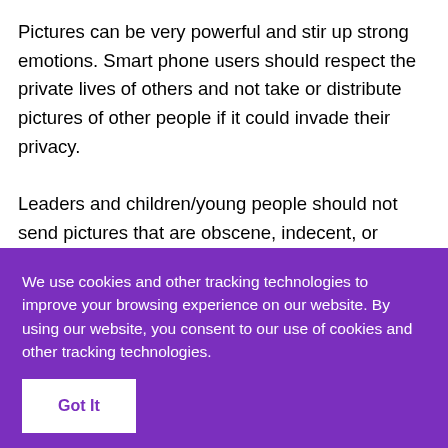Pictures can be very powerful and stir up strong emotions. Smart phone users should respect the private lives of others and not take or distribute pictures of other people if it could invade their privacy.
Leaders and children/young people should not send pictures that are obscene, indecent, or
We use cookies and other tracking technologies to improve your browsing experience on our website. By using our website, you consent to our use of cookies and other tracking technologies.
Got It
make, and permit to be taken, distribute, show, or